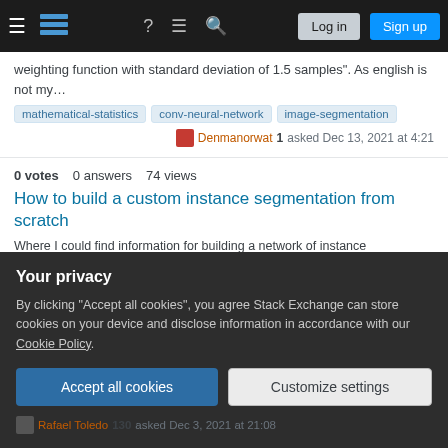Stack Exchange navigation bar with Log in and Sign up buttons
weighting function with standard deviation of 1.5 samples". As english is not my…
mathematical-statistics  conv-neural-network  image-segmentation
Denmanorwat 1 asked Dec 13, 2021 at 4:21
0 votes  0 answers  74 views
How to build a custom instance segmentation from scratch
Where I could find information for building a network of instance segmentation from scratch(e.g., using PyTorch). I would like to build a custom image classifier + instan…
python  image-segmentation
rerere L. 1 asked Dec 12, 2021 at 8:50
Your privacy
By clicking "Accept all cookies", you agree Stack Exchange can store cookies on your device and disclose information in accordance with our Cookie Policy.
Accept all cookies  Customize settings
Rafael Toledo 130 asked Dec 3, 2021 at 21:08